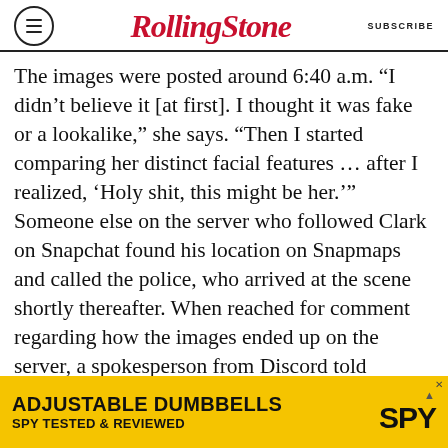RollingStone | SUBSCRIBE
The images were posted around 6:40 a.m. “I didn’t believe it [at first]. I thought it was fake or a lookalike,” she says. “Then I started comparing her distinct facial features … after I realized, ‘Holy shit, this might be her.’” Someone else on the server who followed Clark on Snapchat found his location on Snapmaps and called the police, who arrived at the scene shortly thereafter. When reached for comment regarding how the images ended up on the server, a spokesperson from Discord told Rolling Stone: “We are shocked and deeply saddened by this terrible situation. We are working closely with law enforcement to provide any assistance we can. In the meantime, our
[Figure (other): Advertisement banner: ADJUSTABLE DUMBBELLS SPY TESTED & REVIEWED on yellow background with SPY logo]